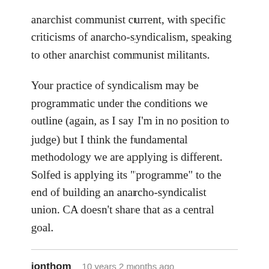anarchist communist current, with specific criticisms of anarcho-syndicalism, speaking to other anarchist communist militants.
Your practice of syndicalism may be programmatic under the conditions we outline (again, as I say I'm in no position to judge) but I think the fundamental methodology we are applying is different. Solfed is applying its "programme" to the end of building an anarcho-syndicalist union. CA doesn't share that as a central goal.
jonthom   10 years 2 months ago